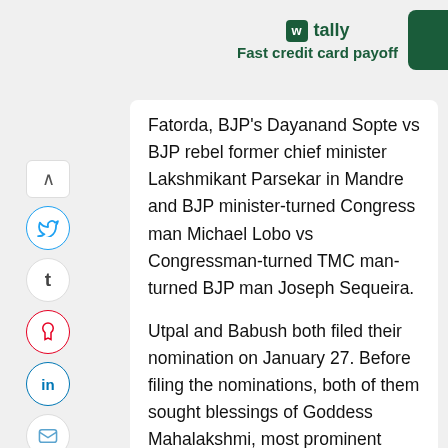[Figure (logo): Tally app logo with text 'tally' and tagline 'Fast credit card payoff' on grey background, with green rounded rectangle on right edge]
Fatorda, BJP's Dayanand Sopte vs BJP rebel former chief minister Lakshmikant Parsekar in Mandre and BJP minister-turned Congress man Michael Lobo vs Congressman-turned TMC man-turned BJP man Joseph Sequeira.
Utpal and Babush both filed their nomination on January 27. Before filing the nominations, both of them sought blessings of Goddess Mahalakshmi, most prominent Hindu deity in Panjim. Supporters who accompanied Utpal easily outnumbered those who accompanied Babush. But Babush looked confident